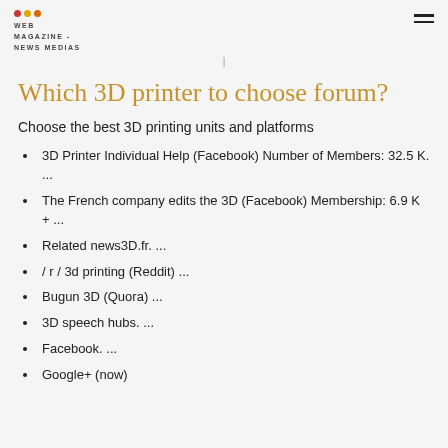WEB MAGAZINE - NEWS MEDIAS
Which 3D printer to choose forum?
Choose the best 3D printing units and platforms
3D Printer Individual Help (Facebook) Number of Members: 32.5 K. ...
The French company edits the 3D (Facebook) Membership: 6.9 K + ...
Related news3D.fr. ...
/ r / 3d printing (Reddit) ...
Bugun 3D (Quora) ...
3D speech hubs. ...
Facebook. ...
Google+ (now)